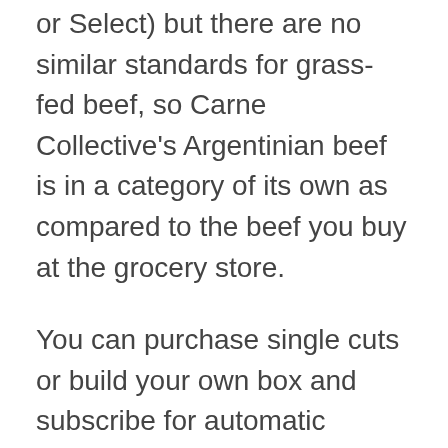or Select) but there are no similar standards for grass-fed beef, so Carne Collective's Argentinian beef is in a category of its own as compared to the beef you buy at the grocery store.
You can purchase single cuts or build your own box and subscribe for automatic deliveries. Some of the Carne Collective cuts include: Matambre, Ground Chuck, Flank Steak, Picanha Steak, Tri-Tip, Whole Tenderloins, New York Strip, Skirt Steak, Sirloin Steak, Picanha Culotte, Filet Mignon, Tenderloin Tips, and Ribeye.